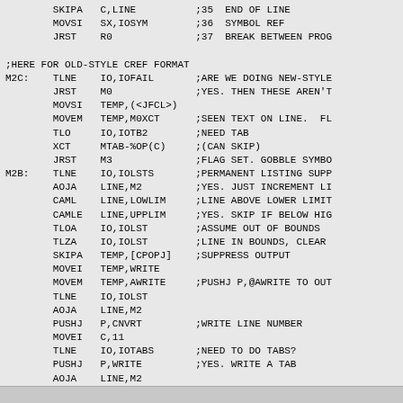SKIPA C,LINE / MOVSI SX,IOSYM / JRST R0 / ;HERE FOR OLD-STYLE CREF FORMAT / M2C: TLNE IO,IOFAIL / JRST M0 / MOVSI TEMP,(<JFCL>) / MOVEM TEMP,M0XCT / TLO IO,IOTB2 / XCT MTAB-%OP(C) / JRST M3 / M2B: TLNE IO,IOLSTS / AOJA LINE,M2 / CAML LINE,LOWLIM / CAMLE LINE,UPPLIM / TLOA IO,IOLST / TLZA IO,IOLST / SKIPA TEMP,[CPOPJ] / MOVEI TEMP,WRITE / MOVEM TEMP,AWRITE / TLNE IO,IOLST / AOJA LINE,M2 / PUSHJ P,CNVRT / MOVEI C,11 / TLNE IO,IOTABS / PUSHJ P,WRITE / AOJA LINE,M2